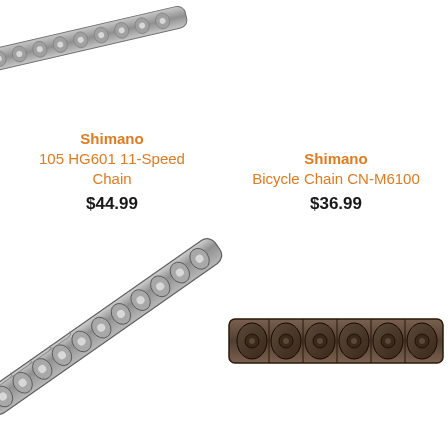[Figure (photo): Shimano 105 HG601 11-Speed bicycle chain, silver/grey, photographed at an angle on white background]
Shimano
105 HG601 11-Speed Chain
$44.99
[Figure (photo): Shimano Bicycle Chain CN-M6100, silver chain, photographed at an angle on white background]
Shimano
Bicycle Chain CN-M6100
$36.99
[Figure (photo): Shimano 105 HG601 11-Speed bicycle chain close-up, silver/grey links, diagonal orientation]
[Figure (photo): Shimano Bicycle Chain CN-M6100 close-up, dark brown/grey links viewed from above]